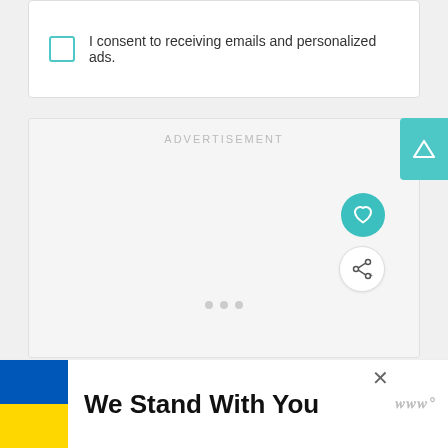I consent to receiving emails and personalized ads.
ADVERTISEMENT
[Figure (screenshot): Advertisement placeholder box with loading dots and social action buttons (heart and share). A teal triangle button appears at the top right.]
[Figure (infographic): Banner ad with Ukrainian flag (blue and yellow stripes), bold text 'We Stand With You', a close (x) button, and a logo with stylized 'w' characters.]